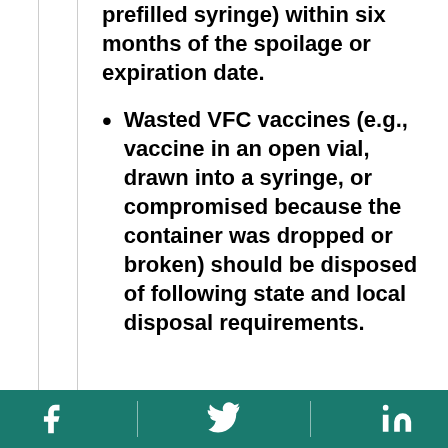prefilled syringe) within six months of the spoilage or expiration date.
Wasted VFC vaccines (e.g., vaccine in an open vial, drawn into a syringe, or compromised because the container was dropped or broken) should be disposed of following state and local disposal requirements.
[Figure (other): Footer bar with teal background containing Facebook, Twitter, and LinkedIn social media icons separated by vertical dividers]